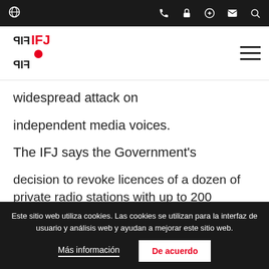IFJ website header navigation bar with icons: globe, phone, lock, plus, mail, search
[Figure (logo): IFJ logo — red and black stacked text logo with globe/federation mark]
widespread attack on
independent media voices.
The IFJ says the Government's
decision to revoke licences of a dozen of private radio stations with up to 200
others facing the same fate is an unprecedented attack on
Este sitio web utiliza cookies. Las cookies se utilizan para la interfaz de usuario y análisis web y ayudan a mejorar este sitio web.
Más información
De acuerdo